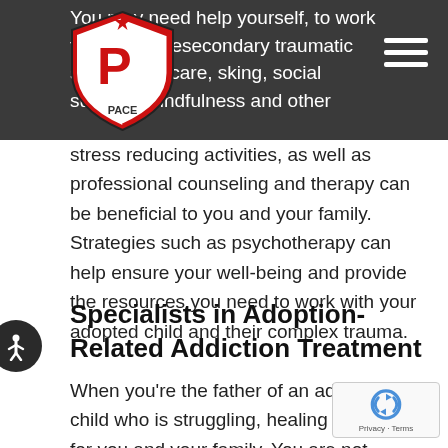You may need help yourself, to work through the effects of secondary traumatic stress. Self-care, skill-building, social support, mindfulness and other
[Figure (logo): PACE shield logo — red and white shield with letter P and text PACE]
stress reducing activities, as well as professional counseling and therapy can be beneficial to you and your family. Strategies such as psychotherapy can help ensure your well-being and provide the resources you need to work with your adopted child and their complex trauma.
Specialists in Adoption-Related Addiction Treatment
When you're the father of an adopted child who is struggling, healing is possible for you and your family. You are not alone. You have resources